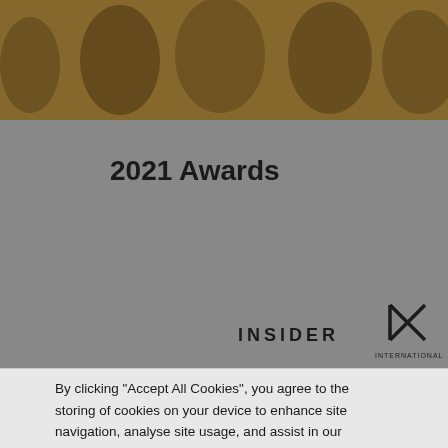[Figure (photo): Sepia-toned photo of people at an awards event, partially visible at the top of the page]
2021 Awards
[Figure (logo): INSIDER text logo in bold spaced caps]
[Figure (logo): International logo with a stylized arrow/line graphic mark above the word INTERNATIONAL]
By clicking “Accept All Cookies”, you agree to the storing of cookies on your device to enhance site navigation, analyse site usage, and assist in our marketing efforts.
Cookies Settings
Reject All
Accept All Cookies